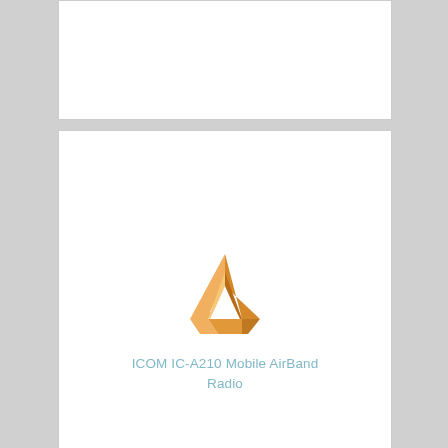[Figure (logo): ICOM logo: orange/gold 3D impossible triangle (Penrose triangle) with gradient shading from light orange to dark brown-orange]
ICOM IC-A210 Mobile AirBand Radio